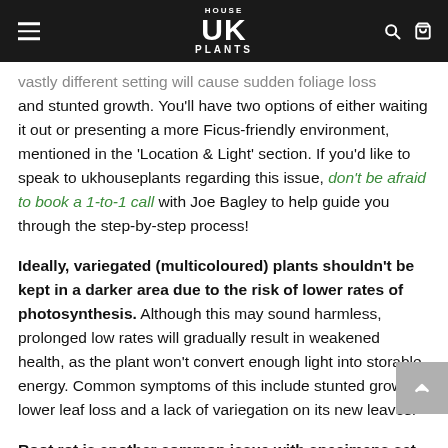House UK Plants
vastly different setting will cause sudden foliage loss and stunted growth. You'll have two options of either waiting it out or presenting a more Ficus-friendly environment, mentioned in the 'Location & Light' section. If you'd like to speak to ukhouseplants regarding this issue, don't be afraid to book a 1-to-1 call with Joe Bagley to help guide you through the step-by-step process!
Ideally, variegated (multicoloured) plants shouldn't be kept in a darker area due to the risk of lower rates of photosynthesis. Although this may sound harmless, prolonged low rates will gradually result in weakened health, as the plant won't convert enough light into storable energy. Common symptoms of this include stunted growth, lower leaf loss and a lack of variegation on its new leaves.
Root rot is another common issue with specimens set in